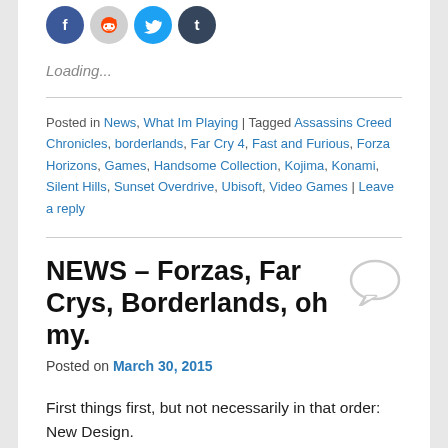[Figure (illustration): Four social media sharing icons: Facebook (blue circle), Reddit (gray circle), Twitter (blue circle), Tumblr (dark blue circle)]
Loading...
Posted in News, What Im Playing | Tagged Assassins Creed Chronicles, borderlands, Far Cry 4, Fast and Furious, Forza Horizons, Games, Handsome Collection, Kojima, Konami, Silent Hills, Sunset Overdrive, Ubisoft, Video Games | Leave a reply
NEWS – Forzas, Far Crys, Borderlands, oh my.
Posted on March 30, 2015
First things first, but not necessarily in that order: New Design.
I'm not sure if I like it yet, as visually, I really prefer the whole text blog look. I find the feels of the tile mosaic